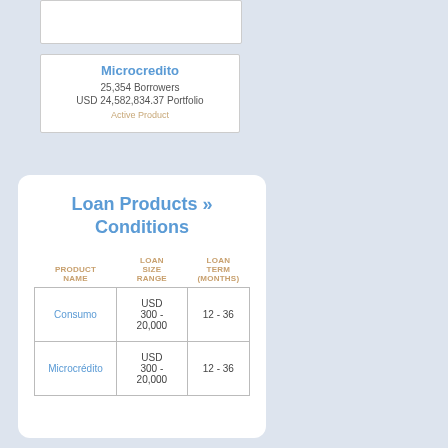Microcredito
25,354 Borrowers
USD 24,582,834.37 Portfolio
Active Product
Loan Products » Conditions
| PRODUCT NAME | LOAN SIZE RANGE | LOAN TERM (MONTHS) |
| --- | --- | --- |
| Consumo | USD 300 - 20,000 | 12 - 36 |
| Microcrédito | USD 300 - 20,000 | 12 - 36 |